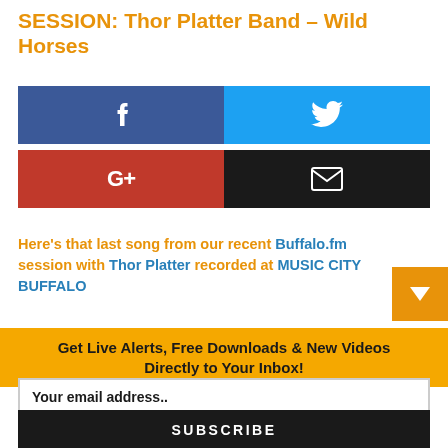SESSION: Thor Platter Band – Wild Horses
[Figure (screenshot): Social sharing buttons: Facebook (blue), Twitter (light blue), Google+ (red), Email (black)]
Here's that last song from our recent Buffalo.fm session with Thor Platter recorded at MUSIC CITY BUFFALO
Get Live Alerts, Free Downloads & New Videos Directly to Your Inbox!
Your email address..
SUBSCRIBE